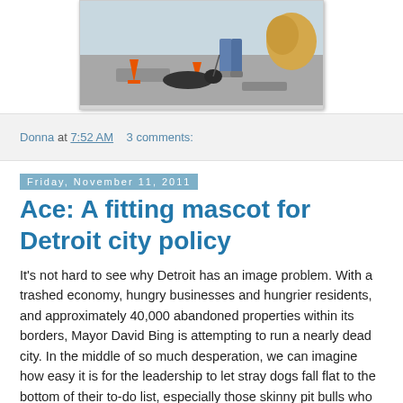[Figure (photo): Outdoor photo showing a dog on a leash on pavement with orange traffic cones and people in the background]
Donna at 7:52 AM    3 comments:
Friday, November 11, 2011
Ace: A fitting mascot for Detroit city policy
It's not hard to see why Detroit has an image problem. With a trashed economy, hungry businesses and hungrier residents, and approximately 40,000 abandoned properties within its borders, Mayor David Bing is attempting to run a nearly dead city. In the middle of so much desperation, we can imagine how easy it is for the leadership to let stray dogs fall flat to the bottom of their to-do list, especially those skinny pit bulls who routinely fill the dead barrels at Detroit Animal Control's city shelter. (City policy will not permit DAC to transfer pit bull